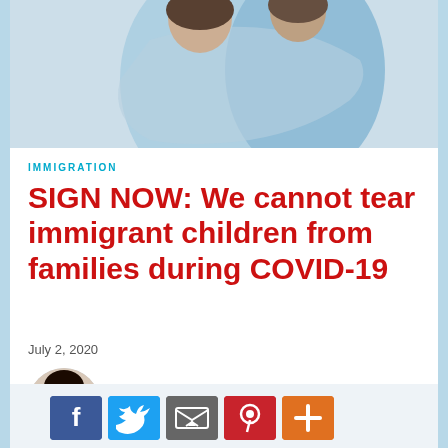[Figure (photo): Two people embracing, wearing light blue clothing, cropped photo showing upper bodies only]
IMMIGRATION
SIGN NOW: We cannot tear immigrant children from families during COVID-19
July 2, 2020
[Figure (photo): Circular headshot of S. Nadia Hussain, a woman with long dark hair smiling]
BY: S. Nadia Hussain
[Figure (infographic): Social sharing buttons: Facebook (blue), Twitter (light blue), Email (grey), Pinterest (red), More/Plus (orange)]